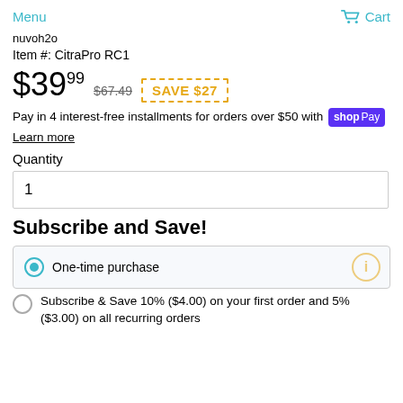Menu   Cart
nuvoh2o
Item #: CitraPro RC1
$39.99  $67.49  SAVE $27
Pay in 4 interest-free installments for orders over $50 with shop Pay
Learn more
Quantity
1
Subscribe and Save!
One-time purchase
Subscribe & Save 10% ($4.00) on your first order and 5% ($3.00) on all recurring orders